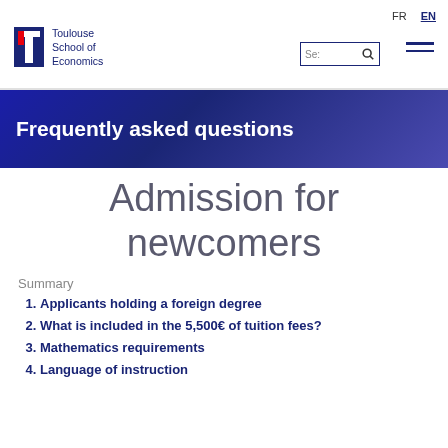FR  EN
[Figure (logo): Toulouse School of Economics logo with TSE shield icon and text]
Frequently asked questions
Admission for newcomers
Summary
Applicants holding a foreign degree
What is included in the 5,500€ of tuition fees?
Mathematics requirements
Language of instruction